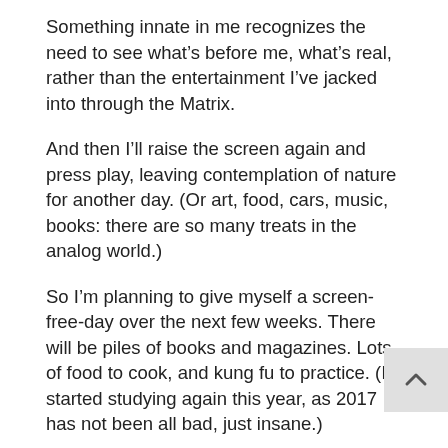Something innate in me recognizes the need to see what's before me, what's real, rather than the entertainment I've jacked into through the Matrix.
And then I'll raise the screen again and press play, leaving contemplation of nature for another day. (Or art, food, cars, music, books: there are so many treats in the analog world.)
So I'm planning to give myself a screen-free-day over the next few weeks. There will be piles of books and magazines. Lots of food to cook, and kung fu to practice. (I started studying again this year, as 2017 has not been all bad, just insane.)
Will I follow through?
Would you try it yourself?
No screens for a day?
I'm in mind of the question, having just put down “ME.